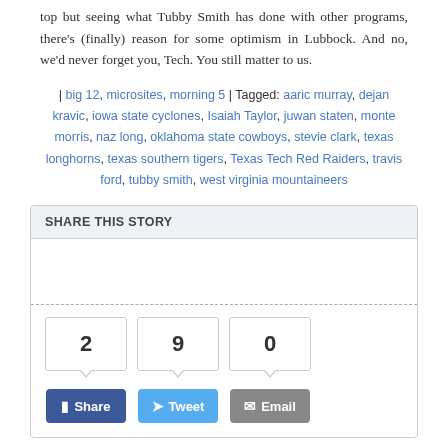top but seeing what Tubby Smith has done with other programs, there's (finally) reason for some optimism in Lubbock. And no, we'd never forget you, Tech. You still matter to us.
| big 12, microsites, morning 5 | Tagged: aaric murray, dejan kravic, iowa state cyclones, Isaiah Taylor, juwan staten, monte morris, naz long, oklahoma state cowboys, stevie clark, texas longhorns, texas southern tigers, Texas Tech Red Raiders, travis ford, tubby smith, west virginia mountaineers
SHARE THIS STORY | 2 Share | 9 Tweet | 0 Email
Big 12 M5: 10.17.13 Edition
Posted by Brian Goodman on October 17th, 2013
[Figure (other): Morning badge/logo graphic]